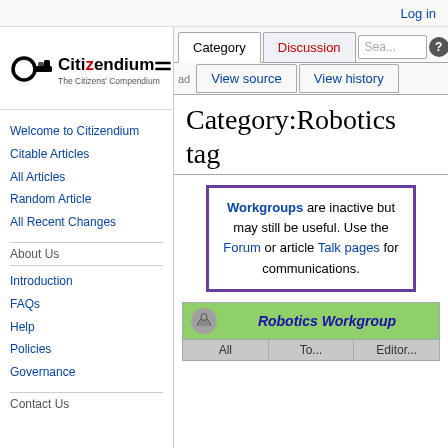Log in
[Figure (logo): Citizendium logo — key icon with 'Citizendium' text and 'The Citizens' Compendium' subtitle]
Category:Robotics tag
Workgroups are inactive but may still be useful. Use the Forum or article Talk pages for communications.
| Robotics Workgroup |  | All | To... | Editor... |
| --- | --- | --- | --- | --- |